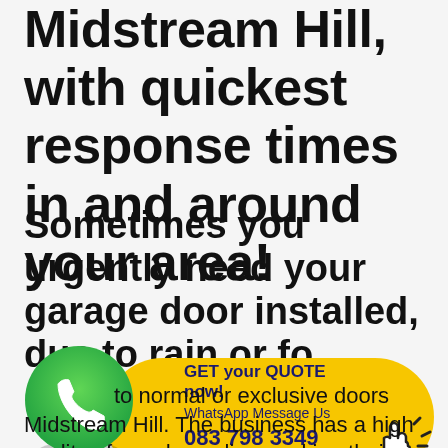Midstream Hill, with quickest response times in and around your area!
Sometimes you urgently need your garage door installed, due to rain or for general security, call
[Figure (infographic): WhatsApp icon with yellow pill-shaped CTA banner reading 'GET your QUOTE now! WhatsApp Message Us 083 798 3349' and a hand/cursor click icon]
to normal or exclusive doors Midstream Hill. The business has a high quality of wood suppliers making their doors most